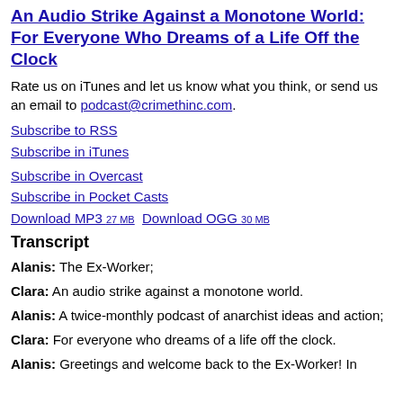An Audio Strike Against a Monotone World: For Everyone Who Dreams of a Life Off the Clock
Rate us on iTunes and let us know what you think, or send us an email to podcast@crimethinc.com.
Subscribe to RSS
Subscribe in iTunes
Subscribe in Overcast
Subscribe in Pocket Casts
Download MP3 27 MB   Download OGG 30 MB
Transcript
Alanis: The Ex-Worker;
Clara: An audio strike against a monotone world.
Alanis: A twice-monthly podcast of anarchist ideas and action;
Clara: For everyone who dreams of a life off the clock.
Alanis: Greetings and welcome back to the Ex-Worker! In